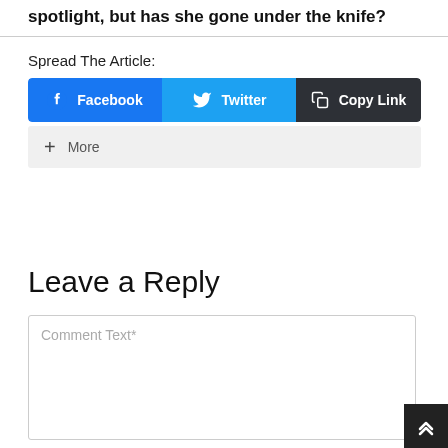spotlight, but has she gone under the knife?
Spread The Article:
[Figure (screenshot): Share buttons row: Facebook (blue), Twitter (light blue), Copy Link (dark), and a More button below]
Leave a Reply
Comment Text*